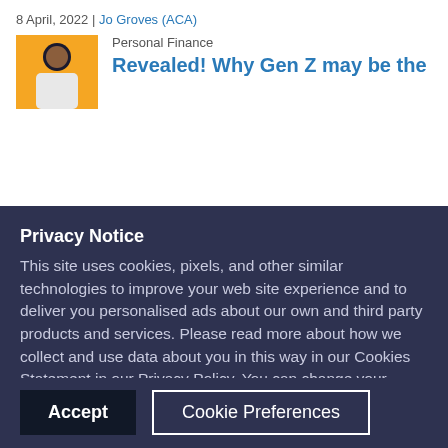8 April, 2022 | Jo Groves (ACA)
[Figure (photo): Article thumbnail with person on yellow background]
Personal Finance
Revealed! Why Gen Z may be the
Privacy Notice
This site uses cookies, pixels, and other similar technologies to improve your web site experience and to deliver you personalised ads about our own and third party products and services. Please read more about how we collect and use data about you in this way in our Cookies Statement in our Privacy Policy. You can change your cookie settings in your browser at any time.
Accept
Cookie Preferences